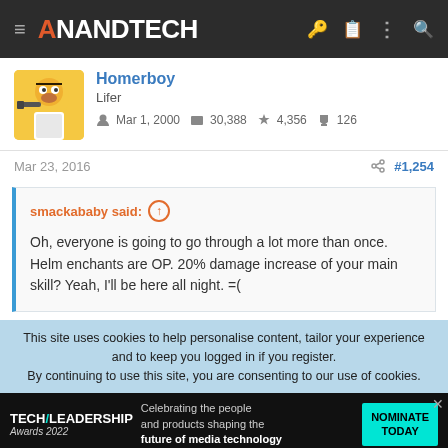AnandTech navigation bar
Homerboy
Lifer
Mar 1, 2000  30,388  4,356  126
Mar 23, 2016  #1,254
smackababy said: ↑

Oh, everyone is going to go through a lot more than once. Helm enchants are OP. 20% damage increase of your main skill? Yeah, I'll be here all night. =(
This site uses cookies to help personalise content, tailor your experience and to keep you logged in if you register.
By continuing to use this site, you are consenting to our use of cookies.
[Figure (screenshot): Tech Leadership Awards 2022 advertisement banner at the bottom of the page]